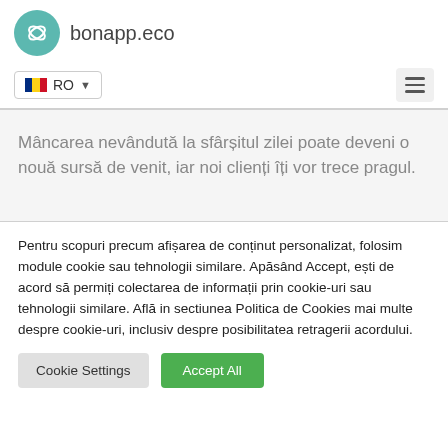[Figure (logo): bonapp.eco logo with teal circular icon and text 'bonapp.eco']
[Figure (screenshot): Language selector showing Romanian flag and 'RO' with dropdown arrow, and hamburger menu icon]
Mâncarea nevândută la sfârșitul zilei poate deveni o nouă sursă de venit, iar noi clienți îți vor trece pragul.
Pentru scopuri precum afișarea de conținut personalizat, folosim module cookie sau tehnologii similare. Apăsând Accept, ești de acord să permiți colectarea de informații prin cookie-uri sau tehnologii similare. Află in sectiunea Politica de Cookies mai multe despre cookie-uri, inclusiv despre posibilitatea retragerii acordului.
Cookie Settings | Accept All